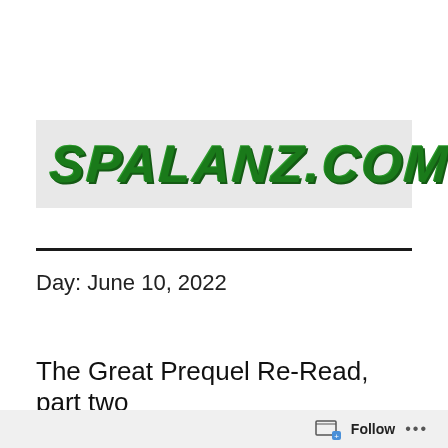MENU
[Figure (logo): spalanz.com website logo — green hand-drawn/grunge style text on light grey background]
Day: June 10, 2022
The Great Prequel Re-Read, part two
Follow ...